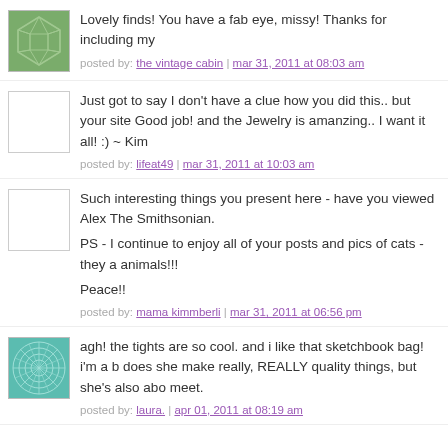Lovely finds! You have a fab eye, missy! Thanks for including my
posted by: the vintage cabin | mar 31, 2011 at 08:03 am
Just got to say I don't have a clue how you did this.. but your site Good job! and the Jewelry is amanzing.. I want it all! :) ~ Kim
posted by: lifeat49 | mar 31, 2011 at 10:03 am
Such interesting things you present here - have you viewed Alex The Smithsonian.

PS - I continue to enjoy all of your posts and pics of cats - they a animals!!!

Peace!!
posted by: mama kimmberli | mar 31, 2011 at 06:56 pm
agh! the tights are so cool. and i like that sketchbook bag! i'm a b does she make really, REALLY quality things, but she's also abo meet.
posted by: laura. | apr 01, 2011 at 08:19 am